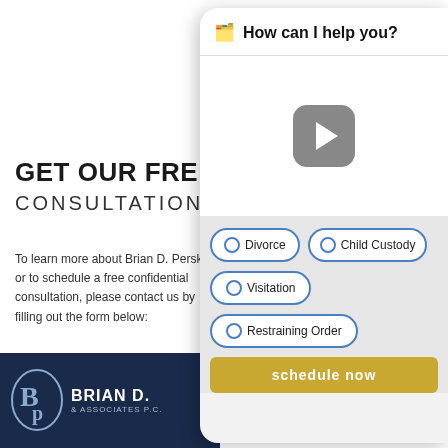[Figure (screenshot): Google Maps showing Brooklyn/Newark area with location pin]
GET OUR FREE CONSULTATION
To learn more about Brian D. Perskin, or to schedule a free confidential consultation, please contact us by filling out the form below:
FREE STRATEGY
[Figure (screenshot): Chat widget overlay showing 'How can I help you?' with video play button and radio button options: Divorce, Child Custody, Visitation, Restraining Order, and a Schedule Now button]
[Figure (logo): Brian D. & Associates P.C. logo with stylized BP monogram on dark navy background]